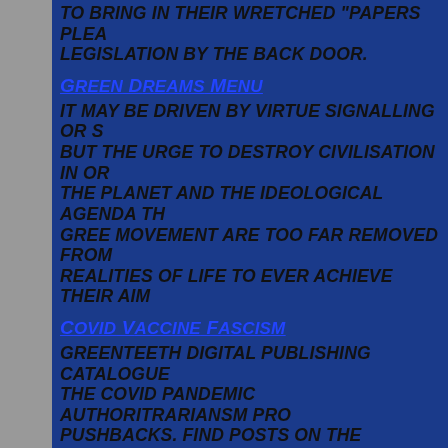TO BRING IN THEIR WRETCHED "PAPERS PLEA... LEGISLATION BY THE BACK DOOR.
GREEN DREAMS MENU
IT MAY BE DRIVEN BY VIRTUE SIGNALLING OR S... BUT THE URGE TO DESTROY CIVILISATION IN OR... THE PLANET AND THE IDEOLOGICAL AGENDA TH... GREE MOVEMENT ARE TOO FAR REMOVED FROM... REALITIES OF LIFE TO EVER ACHIEVE THEIR AIM...
COVID VACCINE FASCISM
GREENTEETH DIGITAL PUBLISHING CATALOGUE... THE COVID PANDEMIC AUTHORITRARIANSM PRO... PUSHBACKS. FIND POSTS ON THE AUTHORITARI... GOVERNMENT, THE LIES OF BIG PHARMA VACC... AND THE PROTESTS AND PUSHBACKS FROM TH... WHOSE RESISTANCE...